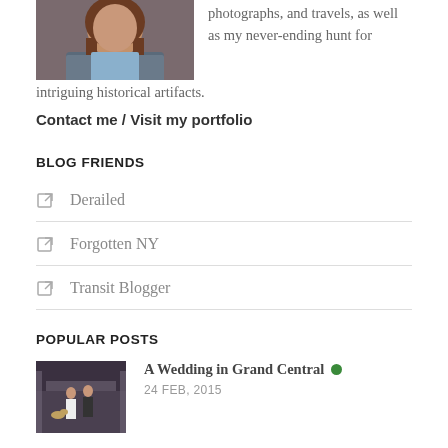[Figure (photo): Profile photo of a woman with long brown hair wearing a blue and grey jacket, cropped at the top of the page]
photographs, and travels, as well as my never-ending hunt for intriguing historical artifacts.
Contact me / Visit my portfolio
BLOG FRIENDS
Derailed
Forgotten NY
Transit Blogger
POPULAR POSTS
[Figure (photo): Thumbnail photo showing a wedding scene inside Grand Central Terminal with people and a dog]
A Wedding in Grand Central
24 FEB, 2015